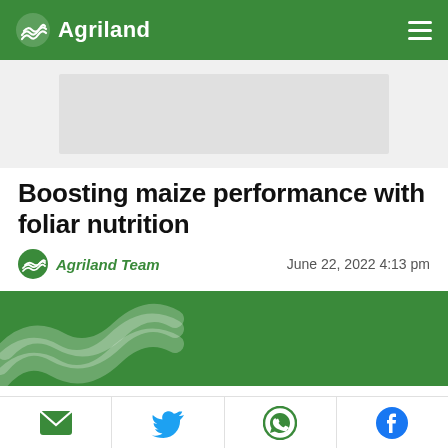Agriland
[Figure (illustration): Advertisement placeholder box (gray rectangle)]
Boosting maize performance with foliar nutrition
Agriland Team · June 22, 2022 4:13 pm
[Figure (photo): Green banner with Agriland layered wave logo watermark]
Maize has a high demand for nutrients due to its high yield potential. These high yields of over